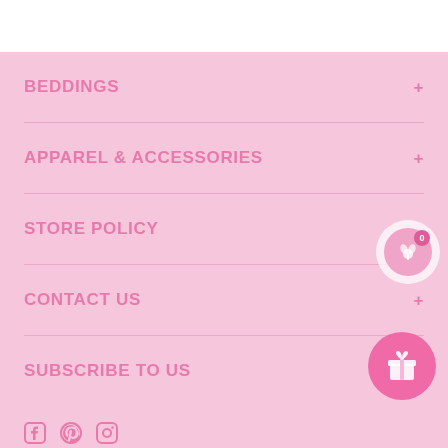BEDDINGS
APPAREL & ACCESSORIES
STORE POLICY
CONTACT US
SUBSCRIBE TO US
[Figure (illustration): Pink flower/plant loyalty points widget with badge showing 0]
[Figure (illustration): Pink gift/reward circular button]
[Figure (illustration): Social media icons: Facebook, Pinterest, Instagram]